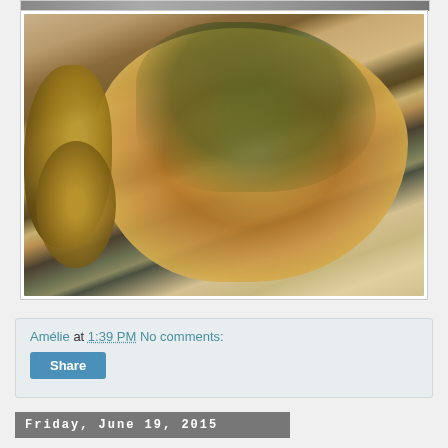[Figure (photo): Top strip of a food photo partially visible at very top of page]
[Figure (photo): Cooked herb-covered chicken breast served with small potatoes on a white plate]
Amélie at 1:39 PM    No comments:
Share
Friday, June 19, 2015